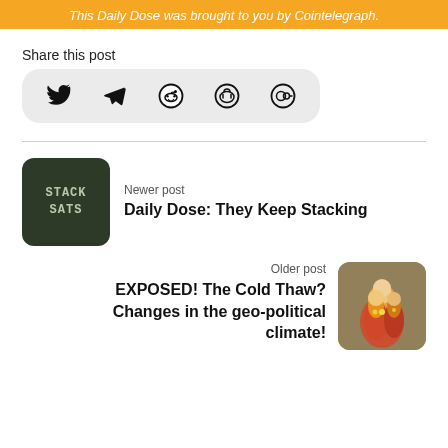This Daily Dose was brought to you by Cointelegraph.
Share this post
[Figure (infographic): Share icons row: Twitter bird, Telegram paper plane, Reddit alien, Mastodon, Cohost]
Newer post
[Figure (photo): Dark green hoodie with 'STACK SATS' text]
Daily Dose: They Keep Stacking
Older post
EXPOSED! The Cold Thaw? Changes in the geo-political climate!
[Figure (photo): Matryoshka Russian dolls colorful photo]